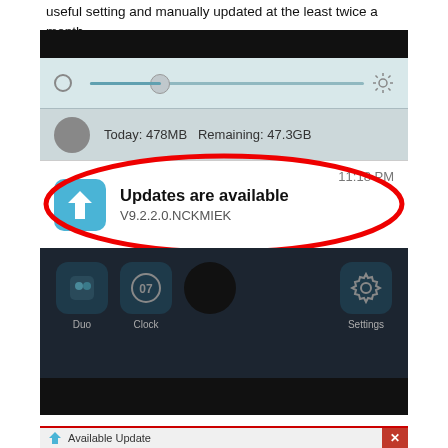useful setting and manually updated at the least twice a month.
[Figure (screenshot): Android notification panel screenshot showing brightness slider, data usage row (Today: 478MB  Remaining: 47.3GB), and an 'Updates are available V9.2.2.0.NCKMIEK' notification at 11:18 PM. The update notification is circled in red. Below shows the home screen with Duo, Clock, and Settings icons.]
The motive force updating program does not simply cease at scanning your total computer to detect any driver hat is malfunctioning but can even advise you on sure drivers that your system requires. This software updates your driver record, removes the obsolete files, and creates an excellent backup file of all of your drivers.
[Figure (screenshot): Partial screenshot showing bottom of a dialog with 'Available Update' title and a red close/X button.]